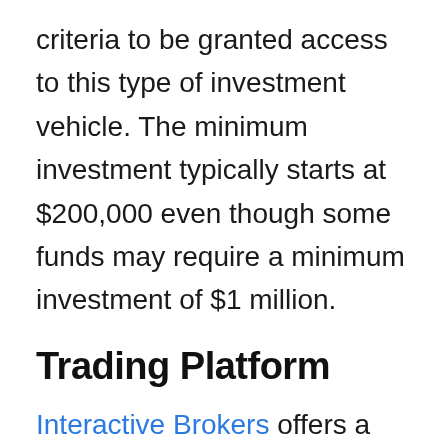criteria to be granted access to this type of investment vehicle. The minimum investment typically starts at $200,000 even though some funds may require a minimum investment of $1 million.
Trading Platform
Interactive Brokers offers a wide range of trading interfaces and systems. These include a web-based client's portal, a desktop version, a mobile trading app, a messaging-based trading system, and advanced API features for sophisticated